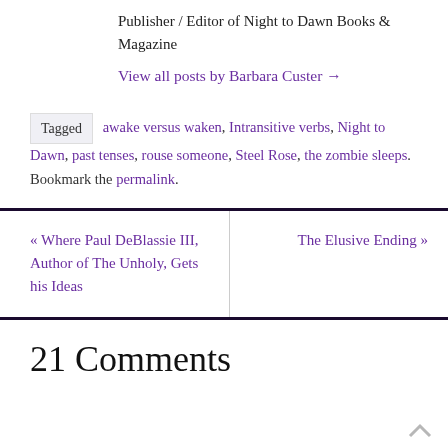Publisher / Editor of Night to Dawn Books & Magazine
View all posts by Barbara Custer →
Tagged  awake versus waken, Intransitive verbs, Night to Dawn, past tenses, rouse someone, Steel Rose, the zombie sleeps.  Bookmark the permalink.
« Where Paul DeBlassie III, Author of The Unholy, Gets his Ideas
The Elusive Ending »
21 Comments